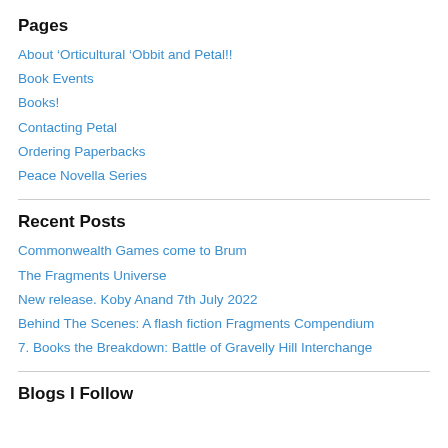Pages
About 'Orticultural 'Obbit and Petal!!
Book Events
Books!
Contacting Petal
Ordering Paperbacks
Peace Novella Series
Recent Posts
Commonwealth Games come to Brum
The Fragments Universe
New release. Koby Anand 7th July 2022
Behind The Scenes: A flash fiction Fragments Compendium
7. Books the Breakdown: Battle of Gravelly Hill Interchange
Blogs I Follow